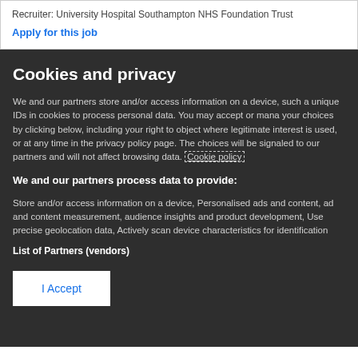Recruiter: University Hospital Southampton NHS Foundation Trust
Apply for this job
Cookies and privacy
We and our partners store and/or access information on a device, such as unique IDs in cookies to process personal data. You may accept or manage your choices by clicking below, including your right to object where legitimate interest is used, or at any time in the privacy policy page. These choices will be signaled to our partners and will not affect browsing data. Cookie policy
We and our partners process data to provide:
Store and/or access information on a device, Personalised ads and content, ad and content measurement, audience insights and product development, Use precise geolocation data, Actively scan device characteristics for identification
List of Partners (vendors)
I Accept